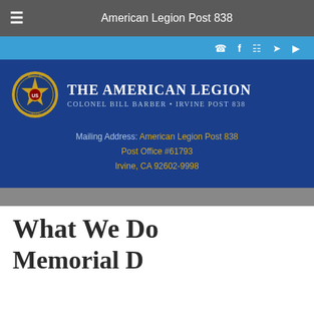American Legion Post 838
[Figure (screenshot): American Legion Colonel Bill Barber Irvine Post 838 logo with seal and text]
Mailing Address: American Legion Post 838
Post Office #61793
Irvine, CA 92602-9998
What We Do
Memorial D...